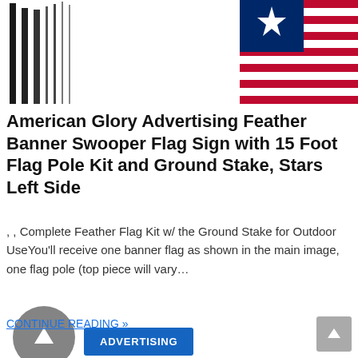[Figure (photo): Two-part image: left side shows vertical black flag poles/poles on white background; right side shows an American flag with blue canton with white star and red/white stripes]
American Glory Advertising Feather Banner Swooper Flag Sign with 15 Foot Flag Pole Kit and Ground Stake, Stars Left Side
, , Complete Feather Flag Kit w/ the Ground Stake for Outdoor UseYou'll receive one banner flag as shown in the main image, one flag pole (top piece will vary…
CONTINUE READING »
ADVERTISING
[Figure (other): Back to top scroll button (grey circle with up arrow), and blue ADVERTISING button below]